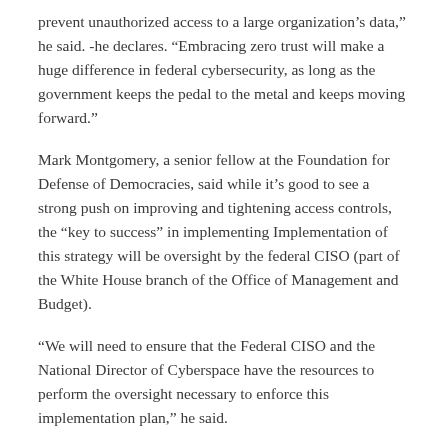prevent unauthorized access to a large organization’s data,” he said. -he declares. “Embracing zero trust will make a huge difference in federal cybersecurity, as long as the government keeps the pedal to the metal and keeps moving forward.”
Mark Montgomery, a senior fellow at the Foundation for Defense of Democracies, said while it’s good to see a strong push on improving and tightening access controls, the “key to success” in implementing Implementation of this strategy will be oversight by the federal CISO (part of the White House branch of the Office of Management and Budget).
“We will need to ensure that the Federal CISO and the National Director of Cyberspace have the resources to perform the oversight necessary to enforce this implementation plan,” he said.
The federal zero trust strategy requires government agencies to achieve their various security goals by the end of fiscal year